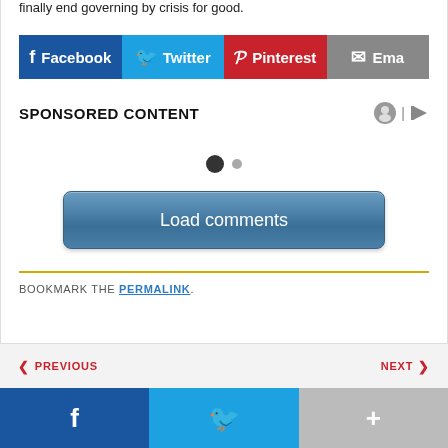finally end governing by crisis for good.
[Figure (infographic): Social share buttons: Facebook (blue), Twitter (cyan), Pinterest (red), Email (gray)]
SPONSORED CONTENT
[Figure (other): Two carousel dots — one filled dark, one small gray — indicating pagination]
[Figure (other): Load comments button, blue gradient rounded rectangle]
BOOKMARK THE PERMALINK.
[Figure (infographic): Previous / Next navigation bar]
[Figure (infographic): Bottom social bar with Facebook, Twitter, and more (+) buttons]